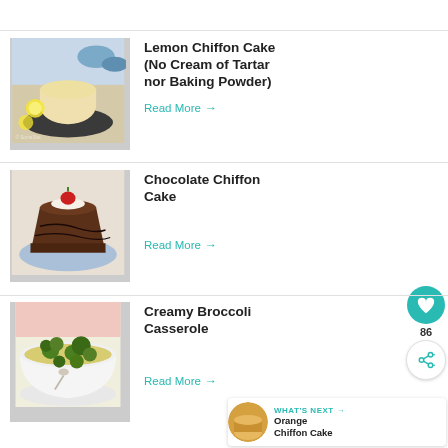[Figure (photo): Lemon chiffon cake on a dark plate with lemon slices and blue bowls in background]
Lemon Chiffon Cake (No Cream of Tartar nor Baking Powder)
Read More →
[Figure (photo): Slice of chocolate chiffon cake topped with strawberries and chocolate drizzle on a blue plate]
Chocolate Chiffon Cake
Read More →
[Figure (photo): Creamy broccoli casserole in a white bowl]
Creamy Broccoli Casserole
Read More →
WHAT'S NEXT → Orange Chiffon Cake